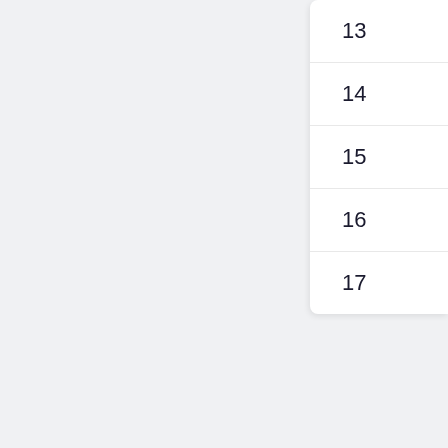| 13 |
| 14 |
| 15 |
| 16 |
| 17 |
Popul
[Figure (illustration): Globe illustration with EU label, partially visible on right edge]
EU
24h Online Support